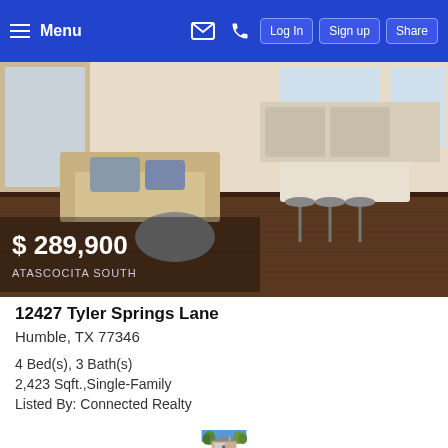Menu | Log In | Sign up | Share
[Figure (photo): Interior living room with sofa, kitchen island and bar stools in background, hardwood floors, price overlay $289,900 and ATASCOCITA SOUTH neighborhood label]
12427 Tyler Springs Lane
Humble, TX 77346
4 Bed(s), 3 Bath(s)
2,423 Sqft.,Single-Family
Listed By: Connected Realty
[Figure (photo): Exterior front view of a single-family brick home with trees in foreground and blue sky background]